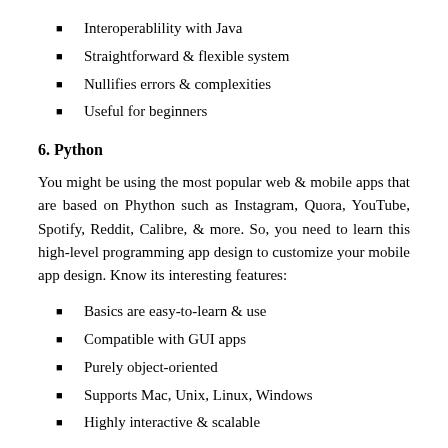Interoperablility with Java
Straightforward & flexible system
Nullifies errors & complexities
Useful for beginners
6. Python
You might be using the most popular web & mobile apps that are based on Phython such as Instagram, Quora, YouTube, Spotify, Reddit, Calibre, & more. So, you need to learn this high-level programming app design to customize your mobile app design. Know its interesting features:
Basics are easy-to-learn & use
Compatible with GUI apps
Purely object-oriented
Supports Mac, Unix, Linux, Windows
Highly interactive & scalable